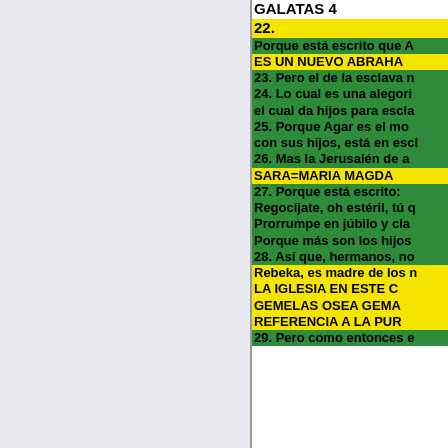GALATAS 4
22.
Porque está escrito que A
ES UN NUEVO ABRAHA
23. Pero el de la esclava n
24. Lo cual es una alegori el cual da hijos para escla
25. Porque Agar es el mo con sus hijos, está en escl
26. Mas la Jerusalén de a
SARA=MARIA MAGDA
27. Porque está escrito:
Regocíjate, oh estéril, tú q
Prorrumpe en júbilo y cla
Porque más son los hijos
28. Así que, hermanos, no
Rebeka, es madre de los n LA IGLESIA EN ESTE C GEMELAS OSEA GEMA REFERENCIA A LA PUR
29. Pero como entonces e